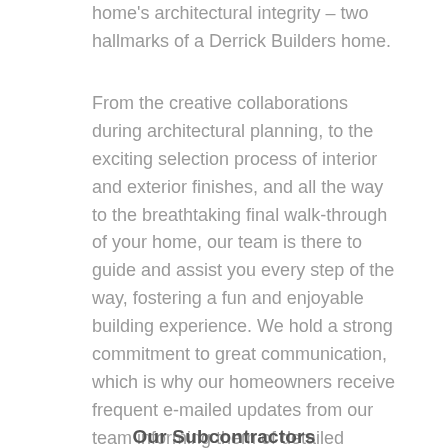home's architectural integrity – two hallmarks of a Derrick Builders home.
From the creative collaborations during architectural planning, to the exciting selection process of interior and exterior finishes, and all the way to the breathtaking final walk-through of your home, our team is there to guide and assist you every step of the way, fostering a fun and enjoyable building experience. We hold a strong commitment to great communication, which is why our homeowners receive frequent e-mailed updates from our team informing them of detailed information and photos of their home's progress.
Our Subcontractors